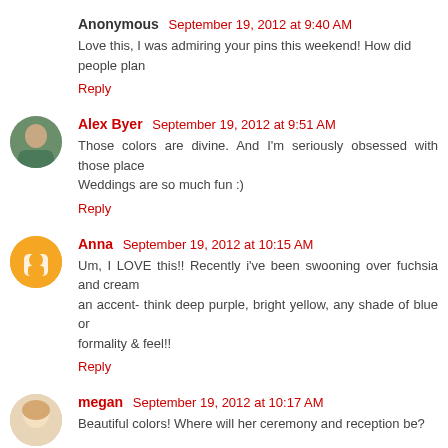Anonymous  September 19, 2012 at 9:40 AM
Love this, I was admiring your pins this weekend! How did people plan
Reply
Alex Byer  September 19, 2012 at 9:51 AM
Those colors are divine. And I'm seriously obsessed with those place Weddings are so much fun :)
Reply
Anna  September 19, 2012 at 10:15 AM
Um, I LOVE this!! Recently i've been swooning over fuchsia and cream an accent- think deep purple, bright yellow, any shade of blue or formality & feel!!
Reply
megan  September 19, 2012 at 10:17 AM
Beautiful colors! Where will her ceremony and reception be?